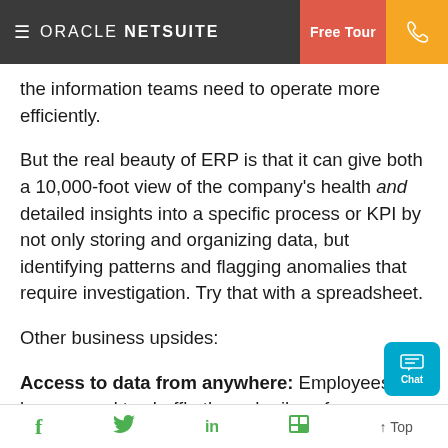ORACLE NETSUITE | Free Tour | [phone]
the information teams need to operate more efficiently.
But the real beauty of ERP is that it can give both a 10,000-foot view of the company's health and detailed insights into a specific process or KPI by not only storing and organizing data, but identifying patterns and flagging anomalies that require investigation. Try that with a spreadsheet.
Other business upsides:
Access to data from anywhere: Employees no longer need to shuffle through piles of papers or files
f  [twitter]  in  [flipboard]  ↑ Top